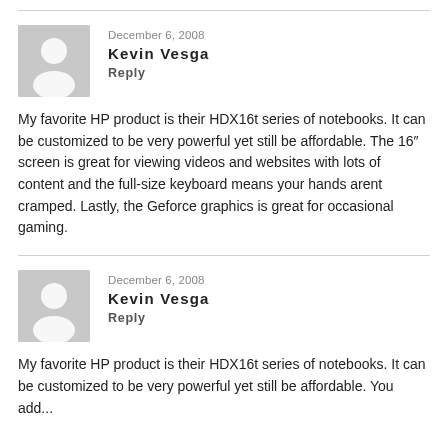December 6, 2008
Kevin Vesga
Reply
My favorite HP product is their HDX16t series of notebooks. It can be customized to be very powerful yet still be affordable. The 16″ screen is great for viewing videos and websites with lots of content and the full-size keyboard means your hands arent cramped. Lastly, the Geforce graphics is great for occasional gaming.
December 6, 2008
Kevin Vesga
Reply
My favorite HP product is their HDX16t series of notebooks. It can be customized to be very powerful yet still be affordable. You add...